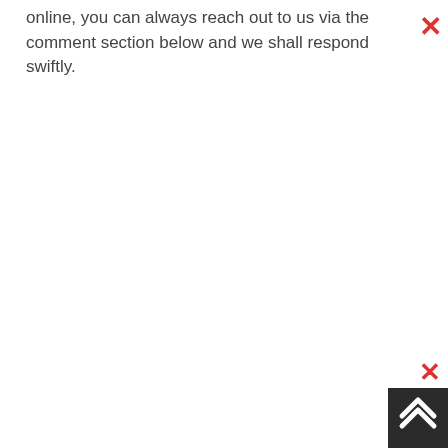online, you can always reach out to us via the comment section below and we shall respond swiftly.
[Figure (other): Red X close button in top-right corner]
[Figure (other): Red X close button and dark scroll-to-top button with double chevron up arrow in bottom-right corner]